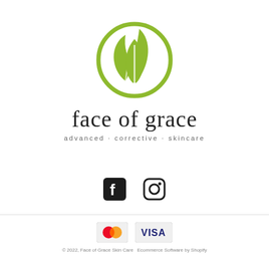[Figure (logo): Face of Grace circular leaf logo in olive/yellow-green color]
face of grace
advanced · corrective · skincare
[Figure (illustration): Social media icons: Facebook and Instagram]
[Figure (illustration): Payment icons: Mastercard and Visa]
© 2022, Face of Grace Skin Care  Ecommerce Software by Shopify